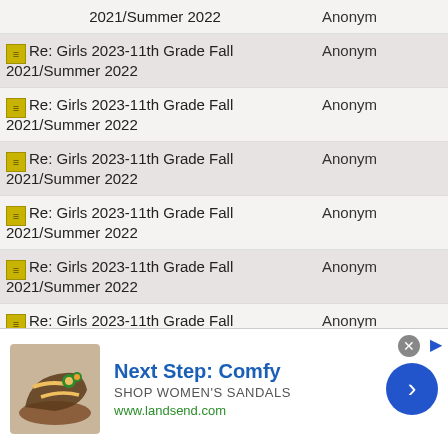| Topic | Author |
| --- | --- |
| 2021/Summer 2022 | Anonym |
| Re: Girls 2023-11th Grade Fall 2021/Summer 2022 | Anonym |
| Re: Girls 2023-11th Grade Fall 2021/Summer 2022 | Anonym |
| Re: Girls 2023-11th Grade Fall 2021/Summer 2022 | Anonym |
| Re: Girls 2023-11th Grade Fall 2021/Summer 2022 | Anonym |
| Re: Girls 2023-11th Grade Fall 2021/Summer 2022 | Anonym |
| Re: Girls 2023-11th Grade Fall 2021/Summer 2022 | Anonym |
| Re: Girls 2023-11th Grade Fall 2021/Summer 2022 (partial) | Anom |
[Figure (infographic): Advertisement banner for Lands End sandals: 'Next Step: Comfy', SHOP WOMEN'S SANDALS, www.landsend.com with shoe image and arrow button]